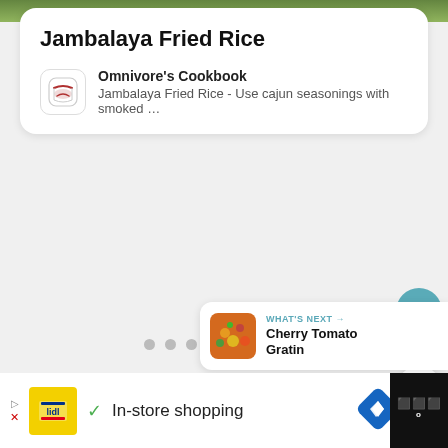[Figure (photo): Green food/nature image strip at top]
Jambalaya Fried Rice
Omnivore's Cookbook
Jambalaya Fried Rice - Use cajun seasonings with smoked …
[Figure (screenshot): App UI with dots pagination, heart/share floating buttons, What's Next panel showing Cherry Tomato Gratin]
4
WHAT'S NEXT →
Cherry Tomato Gratin
▷ AD  ✓ In-store shopping